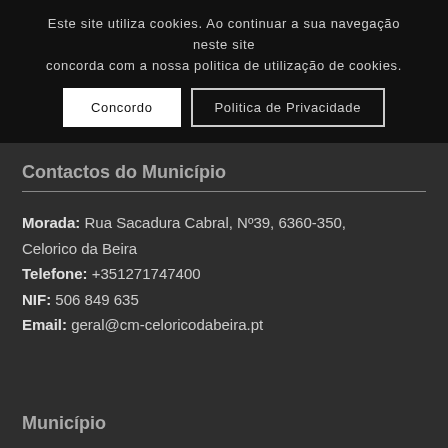Este site utiliza cookies. Ao continuar a sua navegação neste site concorda com a nossa politica de utilização de cookies.
Concordo
Politica de Privacidade
Contactos do Município
Morada: Rua Sacadura Cabral, Nº39, 6360-350, Celorico da Beira
Telefone: +351271747400
NIF: 506 849 635
Email: geral@cm-celoricodabeira.pt
Município